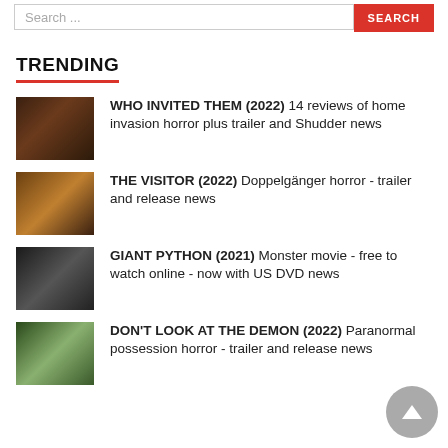[Figure (screenshot): Search bar with text 'Search ...' and red SEARCH button]
TRENDING
WHO INVITED THEM (2022) 14 reviews of home invasion horror plus trailer and Shudder news
THE VISITOR (2022) Doppelgänger horror - trailer and release news
GIANT PYTHON (2021) Monster movie - free to watch online - now with US DVD news
DON'T LOOK AT THE DEMON (2022) Paranormal possession horror - trailer and release news